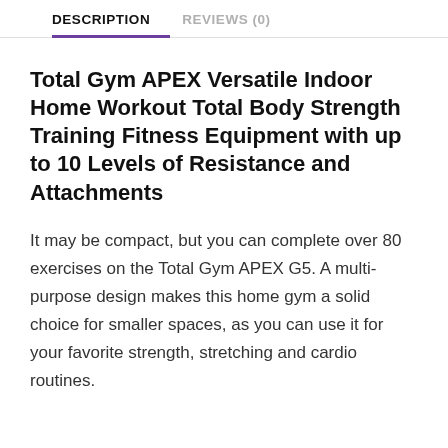DESCRIPTION   REVIEWS (0)
Total Gym APEX Versatile Indoor Home Workout Total Body Strength Training Fitness Equipment with up to 10 Levels of Resistance and Attachments
It may be compact, but you can complete over 80 exercises on the Total Gym APEX G5. A multi-purpose design makes this home gym a solid choice for smaller spaces, as you can use it for your favorite strength, stretching and cardio routines.